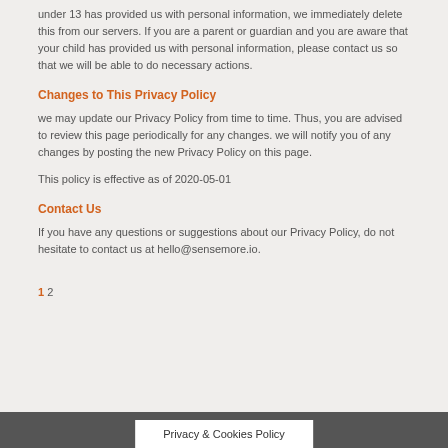under 13 has provided us with personal information, we immediately delete this from our servers. If you are a parent or guardian and you are aware that your child has provided us with personal information, please contact us so that we will be able to do necessary actions.
Changes to This Privacy Policy
we may update our Privacy Policy from time to time. Thus, you are advised to review this page periodically for any changes. we will notify you of any changes by posting the new Privacy Policy on this page.
This policy is effective as of 2020-05-01
Contact Us
If you have any questions or suggestions about our Privacy Policy, do not hesitate to contact us at hello@sensemore.io.
1 2
Privacy & Cookies Policy